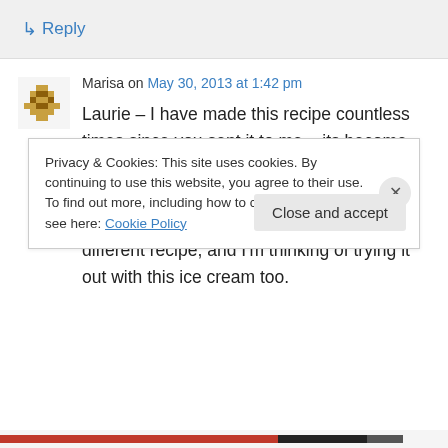↳ Reply
Marisa on May 30, 2013 at 1:42 pm
Laurie – I have made this recipe countless times since you sent it to me – its become one of my go-to, favorite ice cream recipes! And I've done an orange curd variety too! I recently made a grapefruit curd for a different recipe, and I'm thinking of trying it out with this ice cream too.
Privacy & Cookies: This site uses cookies. By continuing to use this website, you agree to their use. To find out more, including how to control cookies, see here: Cookie Policy
Close and accept